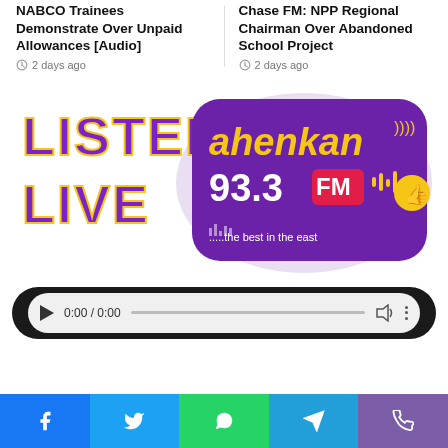NABCO Trainees Demonstrate Over Unpaid Allowances [Audio]
2 days ago
Chase FM: NPP Regional Chairman Over Abandoned School Project
2 days ago
[Figure (logo): Ahenkan 93.3 FM radio station logo with LISTEN LIVE text in purple and yellow, thumbs up icon]
[Figure (other): Audio player bar showing 0:00 / 0:00 with play button, progress bar, volume and more options]
[Figure (other): Social media sharing bar with Facebook, Twitter, WhatsApp, Telegram, and Viber buttons]